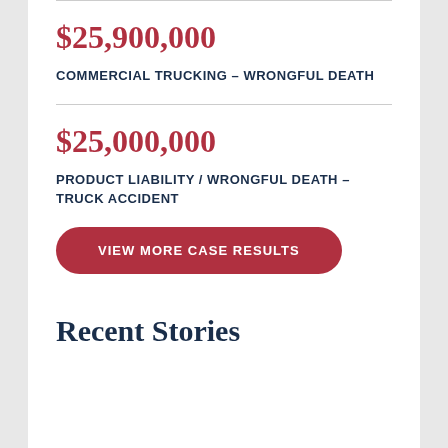$25,900,000
COMMERCIAL TRUCKING – WRONGFUL DEATH
$25,000,000
PRODUCT LIABILITY / WRONGFUL DEATH – TRUCK ACCIDENT
VIEW MORE CASE RESULTS
Recent Stories